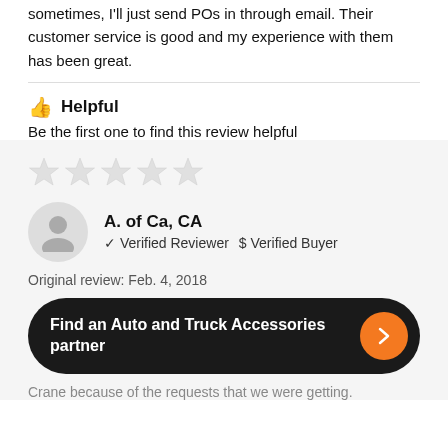sometimes, I'll just send POs in through email. Their customer service is good and my experience with them has been great.
👍 Helpful
Be the first one to find this review helpful
★★★★★
A. of Ca, CA
✓ Verified Reviewer  $ Verified Buyer
Original review: Feb. 4, 2018
Find an Auto and Truck Accessories partner →
Crane because of the requests that we were getting.